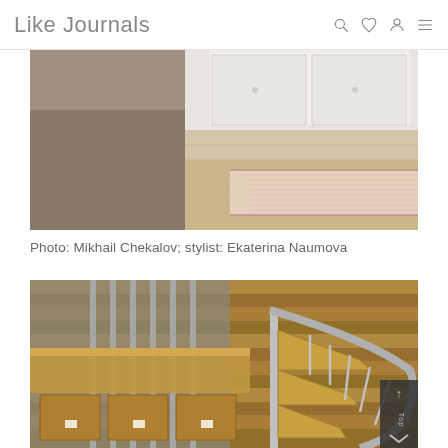Like Journals
[Figure (photo): Interior photo showing living room area with rugs on wooden floor and white cabinet in background]
Photo: Mikhail Chekalov; stylist: Ekaterina Naumova
[Figure (photo): Interior photo of wooden staircase with metal spiral staircase railing and wood-paneled walls]